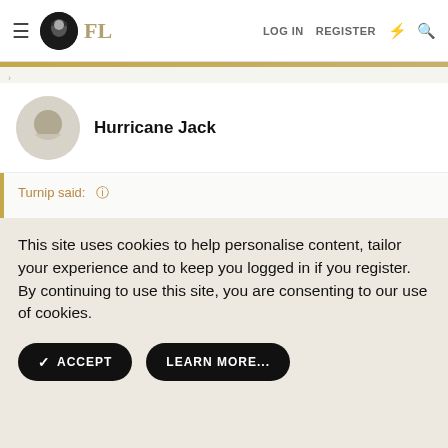FL | LOG IN | REGISTER
Hurricane Jack
Turnip said: ↑
This site uses cookies to help personalise content, tailor your experience and to keep you logged in if you register.
By continuing to use this site, you are consenting to our use of cookies.
✓ ACCEPT | LEARN MORE...
The Wreck of the Edmund Fitzgerald...
Senszio
Handmade by Expert Tailors | BOOK NOW